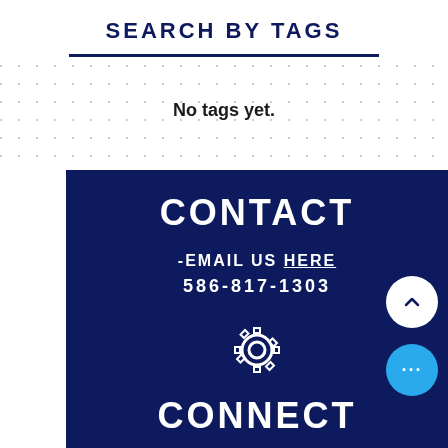SEARCH BY TAGS
No tags yet.
CONTACT
-EMAIL US HERE
586-817-1303
[Figure (illustration): Gear/settings icon in white outline style]
CONNECT
FOLLOW US ON SOCIAL MEDIA